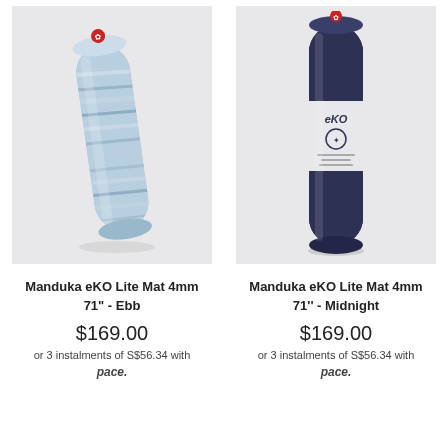[Figure (photo): Manduka eKO Lite yoga mat rolled up, light blue/white marble pattern (Ebb colorway), shown diagonally with small red maple leaf logo at top]
[Figure (photo): Manduka eKO Lite yoga mat rolled up and packaged, dark navy/midnight blue color, showing eKO branding label, with red maple leaf logo at top]
Manduka eKO Lite Mat 4mm 71" - Ebb
$169.00
or 3 instalments of S$56.34 with pace.
Manduka eKO Lite Mat 4mm 71'' - Midnight
$169.00
or 3 instalments of S$56.34 with pace.